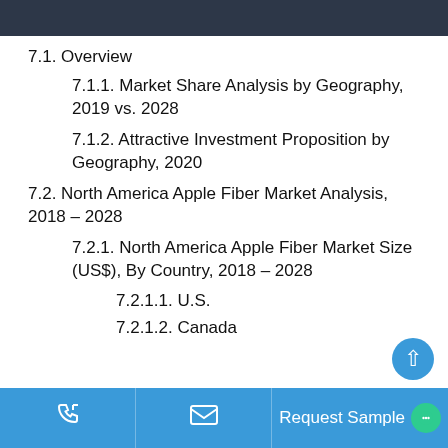7.1. Overview
7.1.1. Market Share Analysis by Geography, 2019 vs. 2028
7.1.2. Attractive Investment Proposition by Geography, 2020
7.2. North America Apple Fiber Market Analysis, 2018 – 2028
7.2.1. North America Apple Fiber Market Size (US$), By Country, 2018 – 2028
7.2.1.1. U.S.
7.2.1.2. Canada